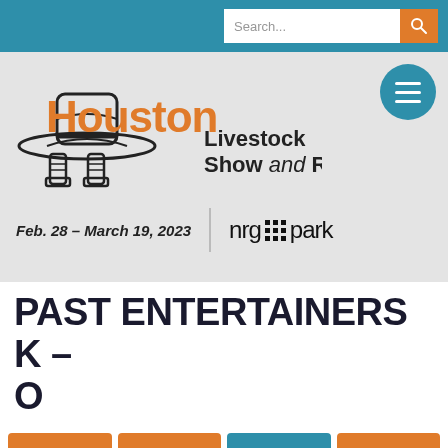[Figure (screenshot): Houston Livestock Show and Rodeo website header with search bar and navigation]
Feb. 28 – March 19, 2023
PAST ENTERTAINERS K – O
A-E
F-J
K-O
P-T